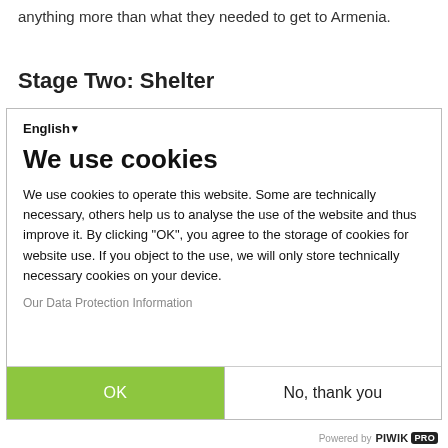anything more than what they needed to get to Armenia.
Stage Two: Shelter
[Figure (screenshot): Cookie consent dialog overlay with language selector showing 'English', title 'We use cookies', descriptive text about cookie usage, a link 'Our Data Protection Information', and two buttons: 'OK' (green) and 'No, thank you' (white). Powered by PIWIK PRO footer.]